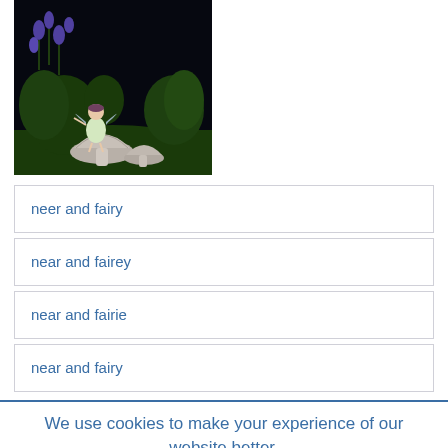[Figure (photo): A fairy figurine sitting on mushrooms in a dark garden setting with purple flowers and green foliage]
neer and fairy
near and fairey
near and fairie
near and fairy
We use cookies to make your experience of our website better.
To comply with the new e-Privacy directive, we need to ask